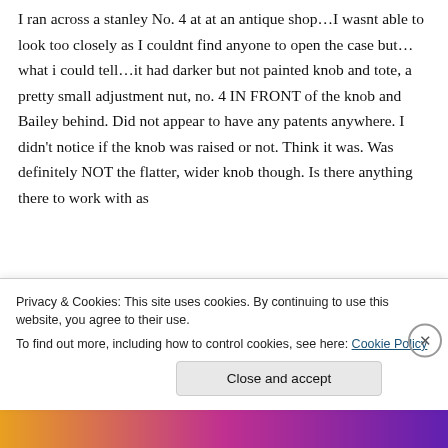I ran across a stanley No. 4 at at an antique shop…I wasnt able to look too closely as I couldnt find anyone to open the case but…what i could tell…it had darker but not painted knob and tote, a pretty small adjustment nut, no. 4 IN FRONT of the knob and Bailey behind. Did not appear to have any patents anywhere. I didn't notice if the knob was raised or not. Think it was. Was definitely NOT the flatter, wider knob though. Is there anything there to work with as
Privacy & Cookies: This site uses cookies. By continuing to use this website, you agree to their use.
To find out more, including how to control cookies, see here: Cookie Policy
Close and accept